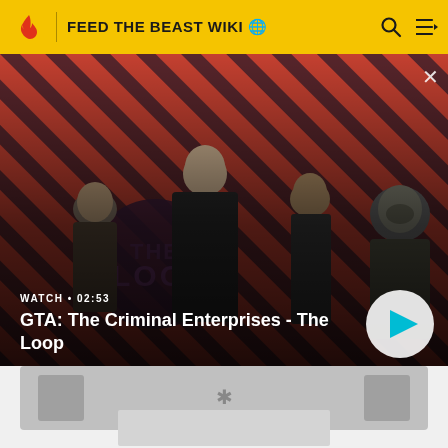FEED THE BEAST WIKI
[Figure (screenshot): GTA: The Criminal Enterprises - The Loop video thumbnail with diagonal red/black stripe background and four game characters. Shows WATCH • 02:53 label and play button overlay.]
WATCH • 02:53
GTA: The Criminal Enterprises - The Loop